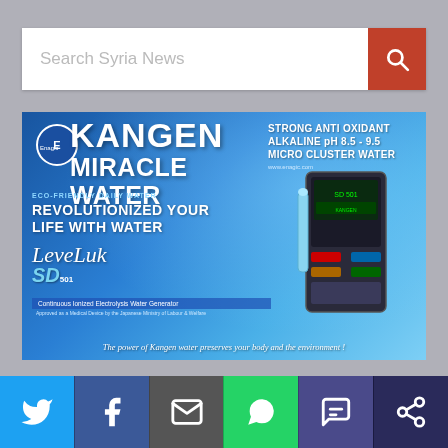[Figure (screenshot): Search bar with placeholder text 'Search Syria News' and orange search button with magnifier icon]
[Figure (infographic): Kangen Miracle Water advertisement banner by Enagic featuring LeveLuk SD501 water ionizer. Text: STRONG ANTI OXIDANT ALKALINE pH 8.5 - 9.5 MICRO CLUSTER WATER, KANGEN MIRACLE WATER, ECO-FRIENDLY DAILY WATER, REVOLUTIONIZED YOUR LIFE WITH WATER, LeveLuk SD501, Continuous Ionized Electrolysis Water Generator, Approved as a Medical Device by the Japanese Ministry of Labour & Welfare, The power of Kangen water preserves your body and the environment!, www.enagic.com]
[Figure (infographic): Social sharing bar at bottom with Twitter, Facebook, Email, WhatsApp, SMS, and Share icons]